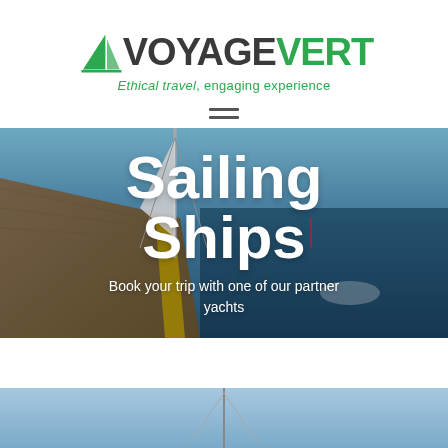[Figure (logo): Voyage Vert logo with green sail icon, text VOYAGE in dark gray and VERT in green, tagline 'Ethical travel, engaging experience' in green italic]
[Figure (other): Hamburger menu icon (two horizontal lines)]
[Figure (photo): Hero photo of a sailing yacht deck with ocean view, overlaid with large white bold text 'Sailing Ships' and subtitle 'Book your trip with one of our partner yachts']
Sailing Ships
Book your trip with one of our partner yachts
[Figure (photo): Partial bottom photo strip showing a sailing ship mast against blue sky]